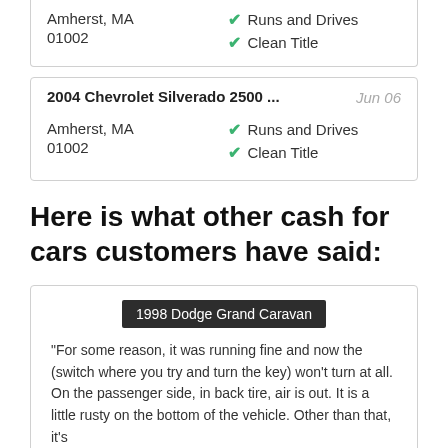Amherst, MA
01002
Runs and Drives
Clean Title
2004 Chevrolet Silverado 2500 ...
Jun 06
Amherst, MA
01002
Runs and Drives
Clean Title
Here is what other cash for cars customers have said:
1998 Dodge Grand Caravan
"For some reason, it was running fine and now the (switch where you try and turn the key) won't turn at all. On the passenger side, in back tire, air is out. It is a little rusty on the bottom of the vehicle. Other than that, it's